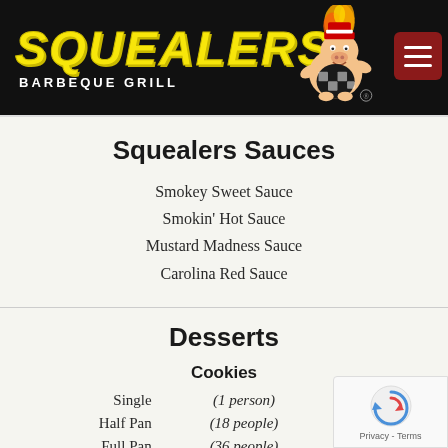[Figure (logo): Squealers Barbeque Grill logo with yellow italic text on black background and pig mascot character]
Squealers Sauces
Smokey Sweet Sauce
Smokin' Hot Sauce
Mustard Madness Sauce
Carolina Red Sauce
Desserts
Cookies
|  |  |  |
| --- | --- | --- |
| Single | (1 person) | 2.25 |
| Half Pan | (18 people) | 33.25 |
| Full Pan | (36 people) | 70.00 |
Brownies
|  |  |  |
| --- | --- | --- |
| Single | (1 person) | 2.50 |
| Half Pan | (18 people) | 40.00 |